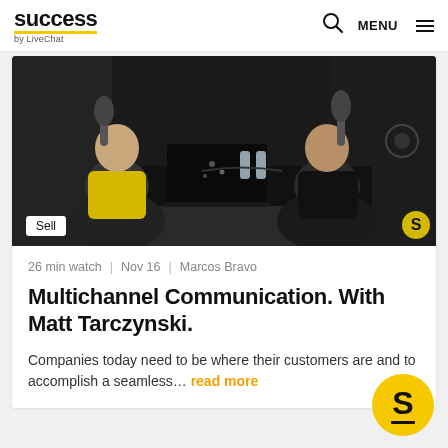success by LiveChat — MENU
[Figure (photo): Two people sitting at a black table in a recording studio setting, speaking into microphones. One person wears a yellow t-shirt, the other a black t-shirt. Dark background with studio equipment visible.]
Sell
26 min watch | Nov 16 | Marcos Bravo
Multichannel Communication. With Matt Tarczynski.
Companies today need to be where their customers are and to accomplish a seamless… read more